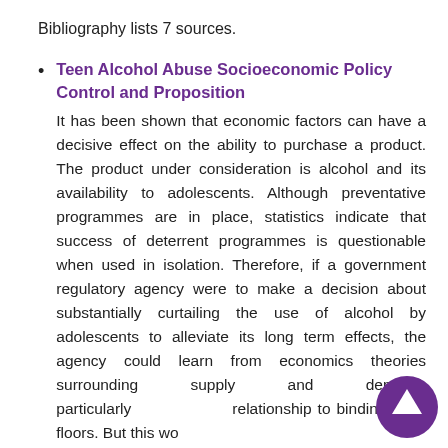Bibliography lists 7 sources.
Teen Alcohol Abuse Socioeconomic Policy Control and Proposition
It has been shown that economic factors can have a decisive effect on the ability to purchase a product. The product under consideration is alcohol and its availability to adolescents. Although preventative programmes are in place, statistics indicate that success of deterrent programmes is questionable when used in isolation. Therefore, if a government regulatory agency were to make a decision about substantially curtailing the use of alcohol by adolescents to alleviate its long term effects, the agency could learn from economics theories surrounding supply and demand, particularly relationship to binding price floors. But this wo...